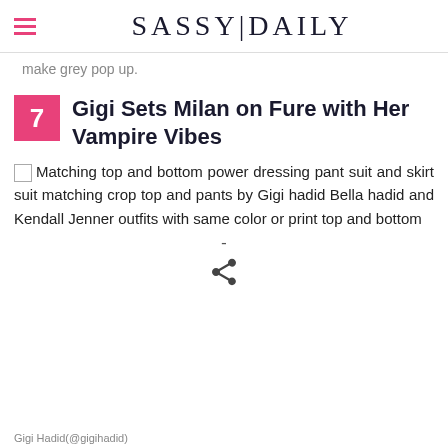SASSY|DAILY
make grey pop up.
7 Gigi Sets Milan on Fure with Her Vampire Vibes
Matching top and bottom power dressing pant suit and skirt suit matching crop top and pants by Gigi hadid Bella hadid and Kendall Jenner outfits with same color or print top and bottom
[Figure (other): Broken image placeholder icon]
-
[Figure (other): Share icon arrow]
Gigi Hadid(@gigihadid)